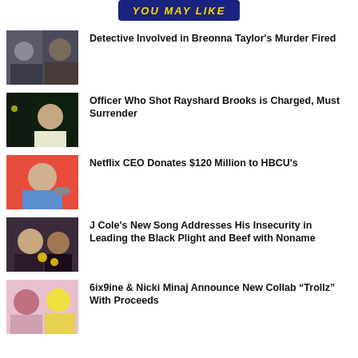YOU MAY LIKE
Detective Involved in Breonna Taylor's Murder Fired
Officer Who Shot Rayshard Brooks is Charged, Must Surrender
Netflix CEO Donates $120 Million to HBCU's
J Cole's New Song Addresses His Insecurity in Leading the Black Plight and Beef with Noname
6ix9ine & Nicki Minaj Announce New Collab “Trollz” With Proceeds